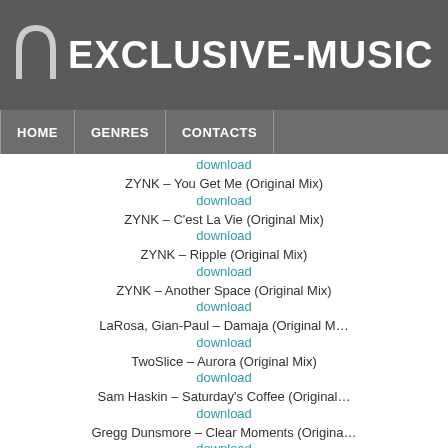EXCLUSIVE-MUSIC
HOME | GENRES | CONTACTS
download
ZYNK – You Get Me (Original Mix)
download
ZYNK – C'est La Vie (Original Mix)
download
ZYNK – Ripple (Original Mix)
download
ZYNK – Another Space (Original Mix)
download
LaRosa, Gian-Paul – Damaja (Original Mix)
download
TwoSlice – Aurora (Original Mix)
download
Sam Haskin – Saturday's Coffee (Original Mix)
download
Gregg Dunsmore – Clear Moments (Original Mix)
download
Leo Christopher – Day Off (Original Mix)
download
Relativ (NL) – Open Up (Original Mix)